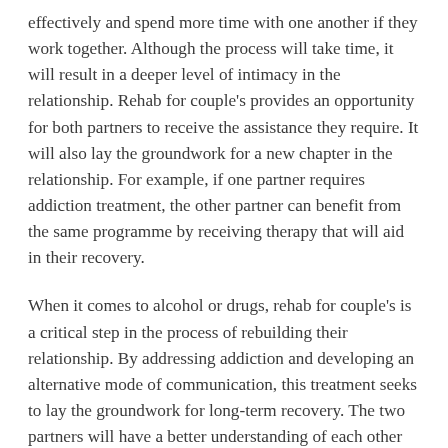effectively and spend more time with one another if they work together. Although the process will take time, it will result in a deeper level of intimacy in the relationship. Rehab for couple's provides an opportunity for both partners to receive the assistance they require. It will also lay the groundwork for a new chapter in the relationship. For example, if one partner requires addiction treatment, the other partner can benefit from the same programme by receiving therapy that will aid in their recovery.
When it comes to alcohol or drugs, rehab for couple's is a critical step in the process of rebuilding their relationship. By addressing addiction and developing an alternative mode of communication, this treatment seeks to lay the groundwork for long-term recovery. The two partners will have a better understanding of each other than they ever have before, and they will be able to move forward in their lives as a result of this process. As soon as the treatment is completed, it will be simple to maintain a strong relationship in a long-term